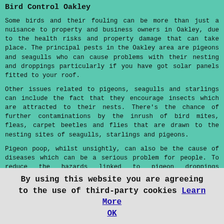Bird Control Oakley
Some birds and their fouling can be more than just a nuisance to property and business owners in Oakley, due to the health risks and property damage that can take place. The principal pests in the Oakley area are pigeons and seagulls who can cause problems with their nesting and droppings particularly if you have got solar panels fitted to your roof.
Other issues related to pigeons, seagulls and starlings can include the fact that they encourage insects which are attracted to their nests. There's the chance of further contaminations by the inrush of bird mites, fleas, carpet beetles and flies that are drawn to the nesting sites of seagulls, starlings and pigeons.
Pigeon poop, whilst unsightly, can also be the cause of diseases which can be a serious problem for people. To reduce the hazards linked to pigeon droppings (Salmonella, Fowl, Psittacosis and Cryptococcosis) there must be a solution to get rid of the birds, or stop them from roosting on your property ASAP.
Picking a Pest Control Service in Oakley
By using this website you are agreeing to the use of third-party cookies Learn More  OK